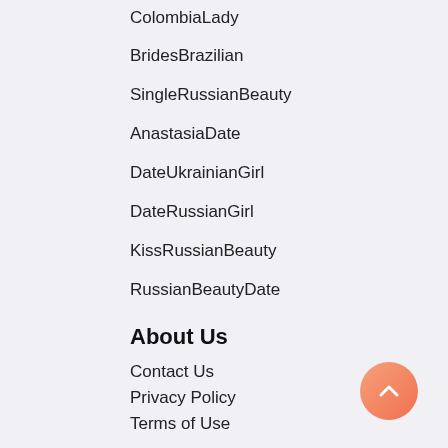ColombiaLady
BridesBrazilian
SingleRussianBeauty
AnastasiaDate
DateUkrainianGirl
DateRussianGirl
KissRussianBeauty
RussianBeautyDate
About Us
Contact Us
Privacy Policy
Terms of Use
Brides By Country
Asian